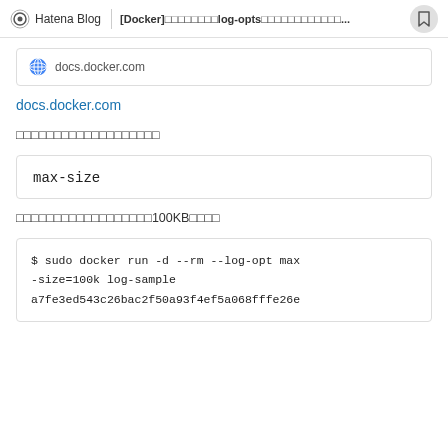Hatena Blog | [Docker]log-optsの設定方法について...
[Figure (screenshot): Link card showing docs.docker.com favicon and URL]
docs.docker.com
以下のオプションを確認してみてください
max-size
ログのmax-sizeをいくつか試してみて100KBにしました
$ sudo docker run -d --rm --log-opt max-size=100k log-sample
a7fe3ed543c26bac2f50a93f4ef5a068fffe26e